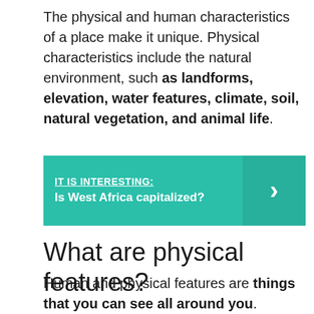The physical and human characteristics of a place make it unique. Physical characteristics include the natural environment, such as landforms, elevation, water features, climate, soil, natural vegetation, and animal life.
[Figure (infographic): Teal/green callout box with label 'IT IS INTERESTING:' and text 'Is West Africa capitalized?' with a right-arrow chevron on the right side.]
What are physical features?
Human and physical features are things that you can see all around you. Physical features like seas, mountains and rivers are natural. They would be here even if there were no people around. Human features are